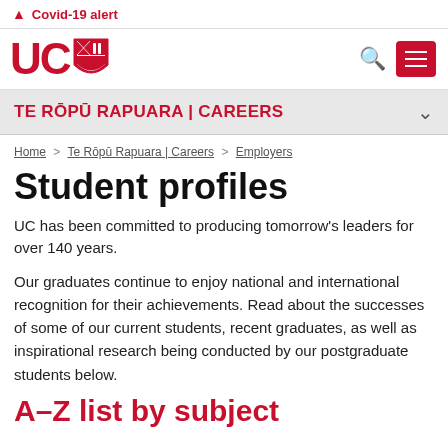⚠ Covid-19 alert
[Figure (logo): University of Canterbury (UC) logo with red letters UC and shield crest]
TE RŌPŪ RAPUARA | CAREERS
Home > Te Rōpū Rapuara | Careers > Employers
Student profiles
UC has been committed to producing tomorrow's leaders for over 140 years.
Our graduates continue to enjoy national and international recognition for their achievements. Read about the successes of some of our current students, recent graduates, as well as inspirational research being conducted by our postgraduate students below.
A–Z list by subject